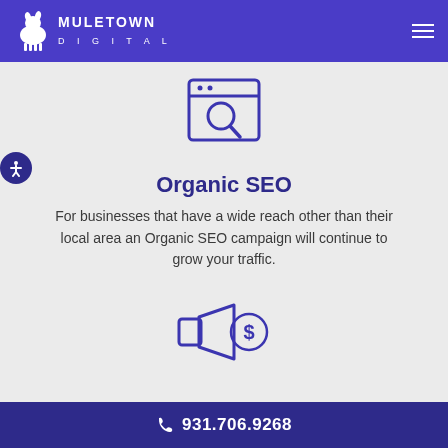Muletown Digital
[Figure (illustration): Browser/search window icon with magnifying glass, drawn in purple outline style]
Organic SEO
For businesses that have a wide reach other than their local area an Organic SEO campaign will continue to grow your traffic.
[Figure (illustration): Megaphone/loudspeaker icon with dollar sign, drawn in purple outline style]
931.706.9268